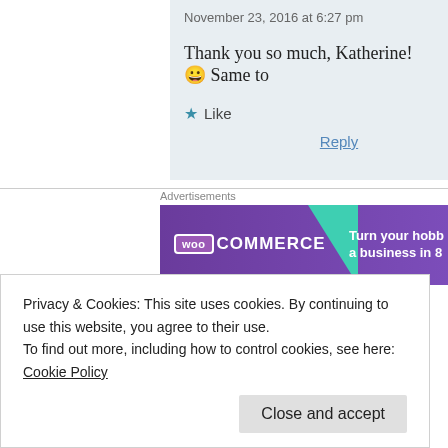November 23, 2016 at 6:27 pm
Thank you so much, Katherine! 🙂 Same to
★ Like
Reply
[Figure (screenshot): WooCommerce advertisement banner with purple background, teal triangle, WooCommerce logo, and text 'Turn your hobb... a business in 8']
sassybooklover says:
Privacy & Cookies: This site uses cookies. By continuing to use this website, you agree to their use.
To find out more, including how to control cookies, see here: Cookie Policy
Close and accept